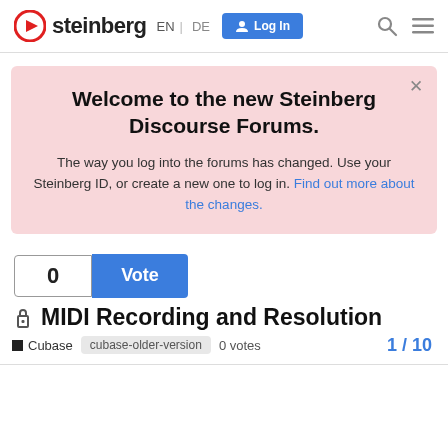steinberg EN | DE  Log In
Welcome to the new Steinberg Discourse Forums.
The way you log into the forums has changed. Use your Steinberg ID, or create a new one to log in. Find out more about the changes.
0  Vote
🔒 MIDI Recording and Resolution
■ Cubase  cubase-older-version  0 votes  1 / 10